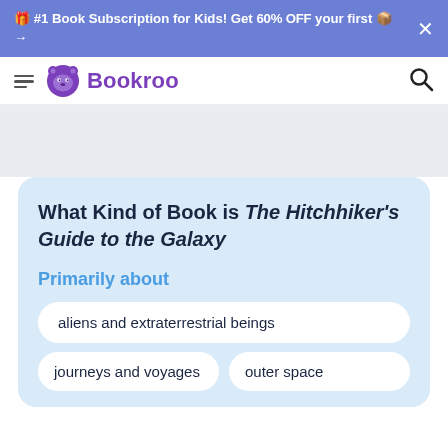🎁 #1 Book Subscription for Kids! Get 60% OFF your first 📦 →
Bookroo
What Kind of Book is The Hitchhiker's Guide to the Galaxy
Primarily about
aliens and extraterrestrial beings
journeys and voyages
outer space